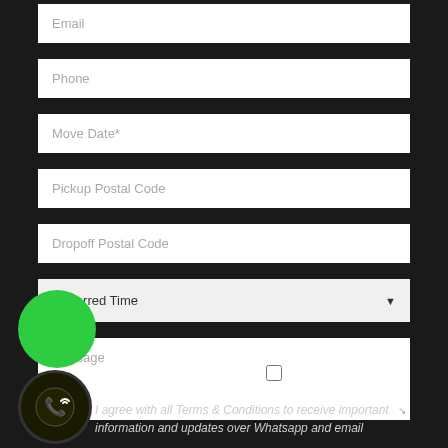Email
Phone
Move Date*
Pickup Postal Code
Dropoff Postal Code
Preferred Time
Message
I am also interested in: Cleaning
I agree with all Terms & Conditions to receive important information and updates over Whatsapp and email